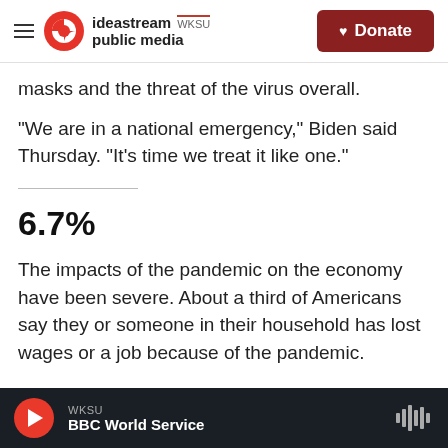ideastream public media WKSU | Donate
masks and the threat of the virus overall.
"We are in a national emergency," Biden said Thursday. "It's time we treat it like one."
6.7%
The impacts of the pandemic on the economy have been severe. About a third of Americans say they or someone in their household has lost wages or a job because of the pandemic.
WKSU | BBC World Service